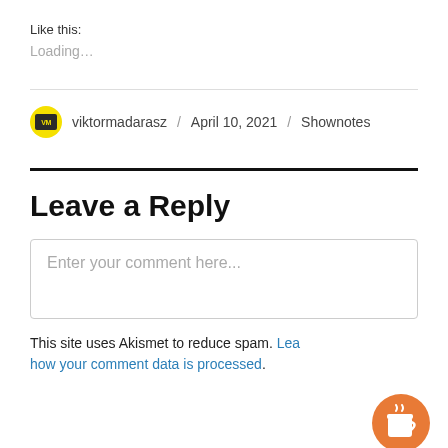Like this:
Loading...
viktormadarasz / April 10, 2021 / Shownotes
Leave a Reply
Enter your comment here...
This site uses Akismet to reduce spam. Learn how your comment data is processed.